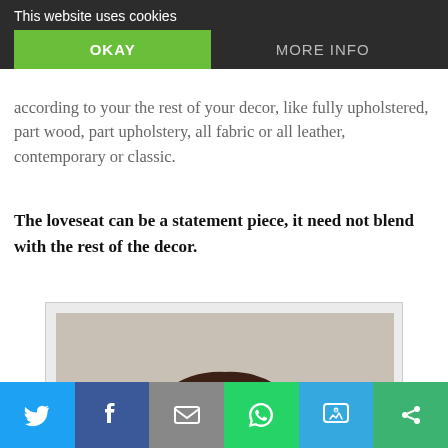This website uses cookies | OKAY | MORE INFO
according to your the rest of your decor, like fully upholstered, part wood, part upholstery, all fabric or all leather, contemporary or classic.
The loveseat can be a statement piece, it need not blend with the rest of the decor.
[Figure (photo): An ornate dark wood loveseat/bench with intricate dragon carvings on the arms and back, decorative floral carvings throughout, cabriole legs, photographed against a light gray background.]
Social share bar: Twitter, Facebook, Email, WhatsApp, SMS, More